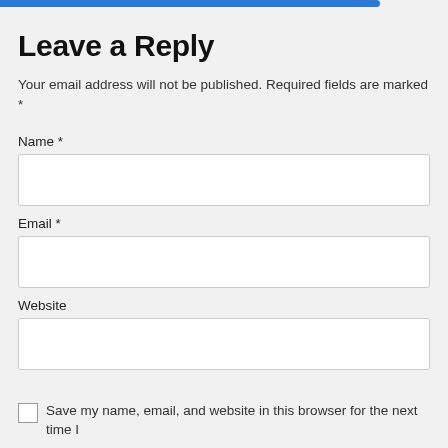Leave a Reply
Your email address will not be published. Required fields are marked *
Name *
Email *
Website
Save my name, email, and website in this browser for the next time I